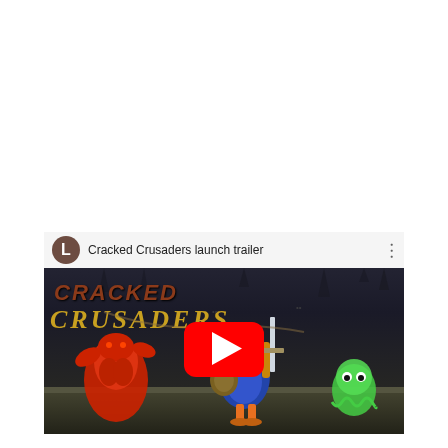[Figure (screenshot): YouTube video thumbnail for 'Cracked Crusaders launch trailer'. Shows a dark cave background with cartoon game characters: a muscular red demon on the left, a blue bird/penguin knight wielding a sword in the center, and a green ghost on the right. The YouTube play button (red with white triangle) is centered. A white top bar shows a brown avatar circle with 'L', the title 'Cracked Crusaders launch trailer', and a three-dot menu. The game logo 'CRACKED CRUSADERS' appears in brown/gold stylized text on the left side.]